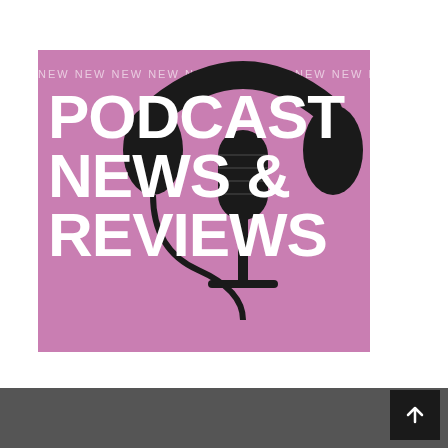[Figure (illustration): Pink background promotional image with large white bold text reading 'PODCAST NEWS & REVIEWS' with a repeating 'NEW' text marquee at the top, overlaid with a black professional microphone/headphone silhouette]